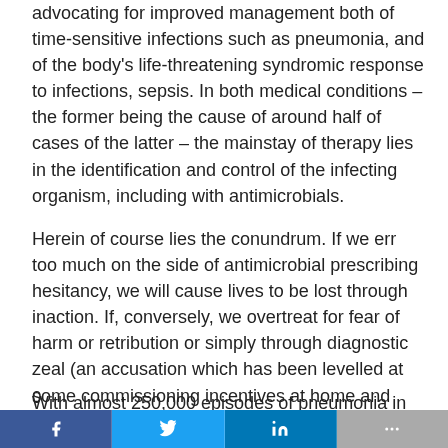advocating for improved management both of time-sensitive infections such as pneumonia, and of the body's life-threatening syndromic response to infections, sepsis. In both medical conditions –the former being the cause of around half of cases of the latter – the mainstay of therapy lies in the identification and control of the infecting organism, including with antimicrobials.
Herein of course lies the conundrum. If we err too much on the side of antimicrobial prescribing hesitancy, we will cause lives to be lost through inaction. If, conversely, we overtreat for fear of harm or retribution or simply through diagnostic zeal (an accusation which has been levelled at some commissioning incentives at home and abroad), we will certainly contribute to the growing threat of antimicrobial resistance (AMR).
With almost 250,000 episodes of pneumonia in the UK each year, and with a similar number of people developing